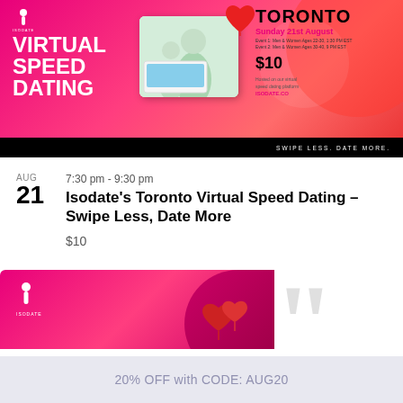[Figure (infographic): Virtual Speed Dating Toronto promotional banner with pink/red gradient background, white bold text reading VIRTUAL SPEED DATING on left, TORONTO heading in black on right with Sunday 21st August date, $10 price, event details and ISODATE.CO link. Photo of couple on laptop screen visible. Black bar at bottom reads SWIPE LESS. DATE MORE.]
7:30 pm - 9:30 pm
Isodate’s Toronto Virtual Speed Dating – Swipe Less, Date More
$10
[Figure (infographic): Partial second Isodate promotional banner with pink/magenta gradient background, Isodate logo visible at top left, red heart balloon decorations visible at right. Banner is cropped.]
20% OFF with CODE: AUG20